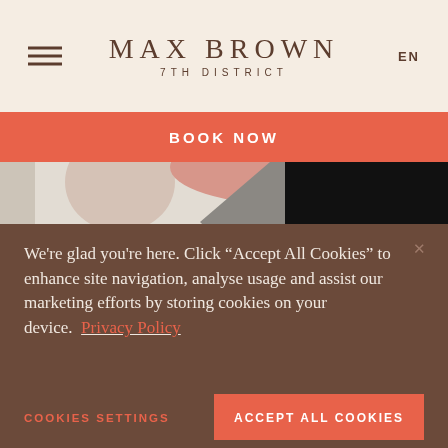MAX BROWN 7TH DISTRICT
BOOK NOW
[Figure (photo): Partial photo of a person wearing a black outfit and red hat against a light background]
We're glad you're here. Click “Accept All Cookies” to enhance site navigation, analyse usage and assist our marketing efforts by storing cookies on your device. Privacy Policy
COOKIES SETTINGS
ACCEPT ALL COOKIES